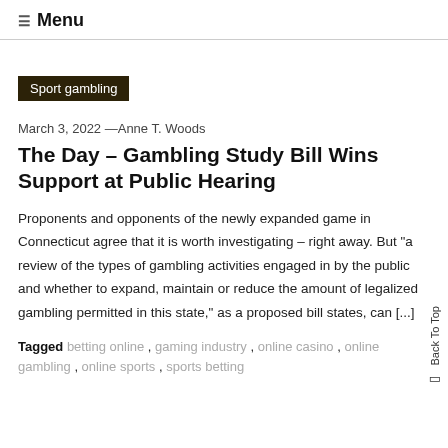☰ Menu
Sport gambling
March 3, 2022 —Anne T. Woods
The Day – Gambling Study Bill Wins Support at Public Hearing
Proponents and opponents of the newly expanded game in Connecticut agree that it is worth investigating – right away. But "a review of the types of gambling activities engaged in by the public and whether to expand, maintain or reduce the amount of legalized gambling permitted in this state," as a proposed bill states, can [...]
Tagged betting online , gaming industry , online casino , online gambling , online sports , sports betting